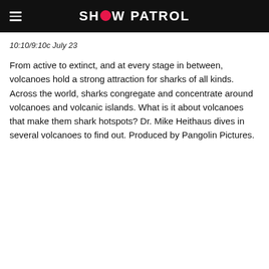SHOW PATROL
10:10/9:10c July 23
From active to extinct, and at every stage in between, volcanoes hold a strong attraction for sharks of all kinds. Across the world, sharks congregate and concentrate around volcanoes and volcanic islands. What is it about volcanoes that make them shark hotspots? Dr. Mike Heithaus dives in several volcanoes to find out. Produced by Pangolin Pictures.